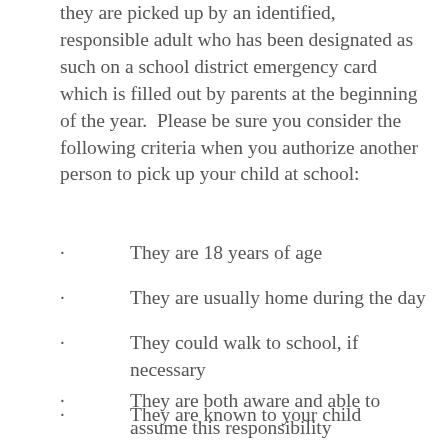they are picked up by an identified, responsible adult who has been designated as such on a school district emergency card which is filled out by parents at the beginning of the year.  Please be sure you consider the following criteria when you authorize another person to pick up your child at school:
They are 18 years of age
They are usually home during the day
They could walk to school, if necessary
They are known to your child
They are both aware and able to assume this responsibility